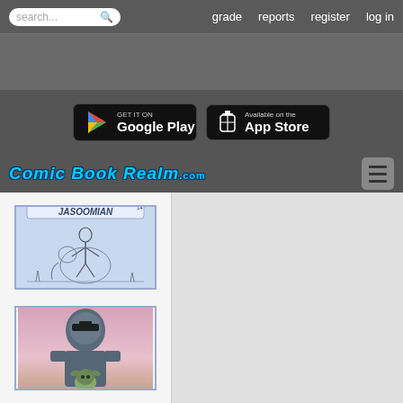search... | grade | reports | register | log in
[Figure (screenshot): Google Play and App Store download buttons on dark banner]
[Figure (logo): Comic Book Realm .com logo with hamburger menu icon]
[Figure (illustration): Jasoomian comic book cover #14 showing a warrior with an elephant]
[Figure (illustration): Mandalorian comic/art showing armored figure holding Baby Yoda with pink sky background]